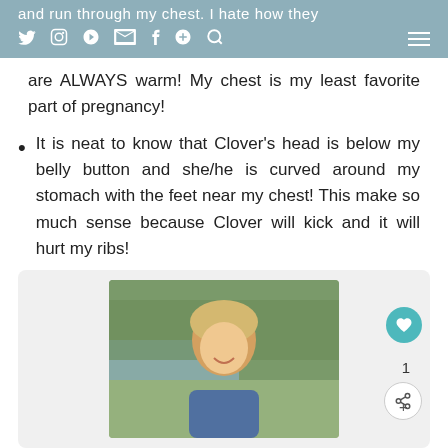and run through my chest. I hate how they are ALWAYS warm! My chest is my least favorite part of pregnancy!
It is neat to know that Clover's head is below my belly button and she/he is curved around my stomach with the feet near my chest! This make so much sense because Clover will kick and it will hurt my ribs!
[Figure (photo): A smiling blonde woman photographed outdoors near a pond with green trees in the background. A heart/like button with count of 1 and a share button are overlaid on the right side of the image card.]